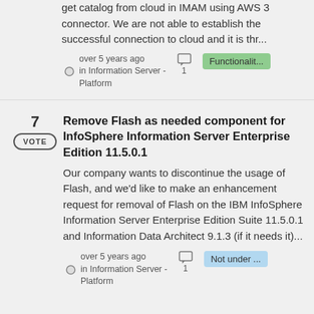get catalog from cloud in IMAM using AWS 3 connector. We are not able to establish the successful connection to cloud and it is thr...
over 5 years ago in Information Server - Platform   [comment icon] 1   Functionalit...
Remove Flash as needed component for InfoSphere Information Server Enterprise Edition 11.5.0.1
Our company wants to discontinue the usage of Flash, and we'd like to make an enhancement request for removal of Flash on the IBM InfoSphere Information Server Enterprise Edition Suite 11.5.0.1 and Information Data Architect 9.1.3 (if it needs it)...
over 5 years ago in Information Server - Platform   [comment icon] 1   Not under ...